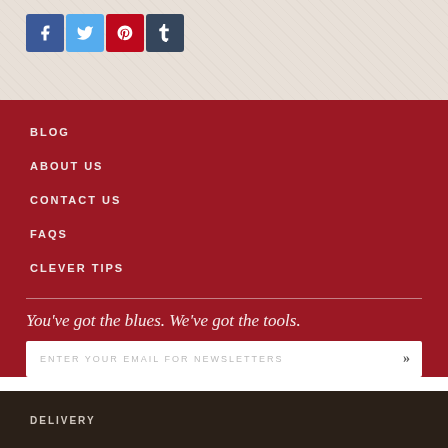[Figure (other): Social media icons row: Facebook (blue), Twitter (light blue), Pinterest (red), Tumblr (dark blue)]
BLOG
ABOUT US
CONTACT US
FAQS
CLEVER TIPS
You’ve got the blues. We’ve got the tools.
ENTER YOUR EMAIL FOR NEWSLETTERS
DELIVERY
TERMS
YOUR PRIVACY
TESTIMONIALS